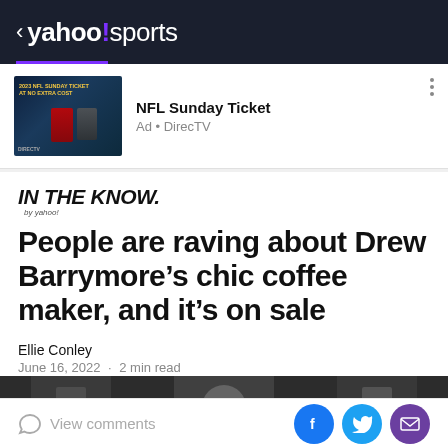< yahoo!sports
[Figure (screenshot): NFL Sunday Ticket advertisement banner with DirecTV branding, showing football players against a dark background]
NFL Sunday Ticket
Ad • DirecTV
[Figure (logo): IN THE KNOW. by yahoo! logo]
People are raving about Drew Barrymore's chic coffee maker, and it's on sale
Ellie Conley
June 16, 2022 · 2 min read
[Figure (photo): Partial article image strip showing hands and a coffee maker]
View comments